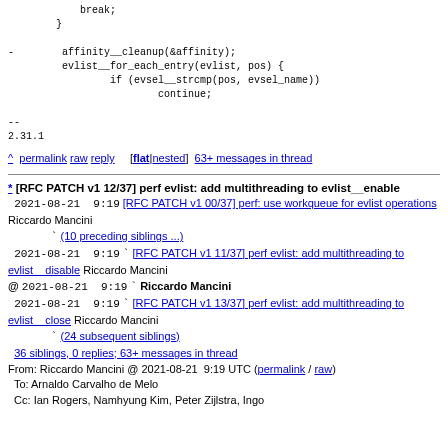break;
    }

-        affinity__cleanup(&affinity);
         evlist__for_each_entry(evlist, pos) {
                 if (evsel__strcmp(pos, evsel_name))
                         continue;

--
2.31.1
^ permalink raw reply [flat|nested] 63+ messages in thread
* [RFC PATCH v1 12/37] perf evlist: add multithreading to evlist__enable
  2021-08-21  9:19 [RFC PATCH v1 00/37] perf: use workqueue for evlist operations Riccardo Mancini
              ` (10 preceding siblings ...)
  2021-08-21  9:19 ` [RFC PATCH v1 11/37] perf evlist: add multithreading to evlist__disable  Riccardo Mancini
@ 2021-08-21  9:19 ` Riccardo Mancini
  2021-08-21  9:19 ` [RFC PATCH v1 13/37] perf evlist: add multithreading to evlist__close  Riccardo Mancini
              ` (24 subsequent siblings)
  36 siblings, 0 replies; 63+ messages in thread
From: Riccardo Mancini @ 2021-08-21  9:19 UTC (permalink / raw)
  To: Arnaldo Carvalho de Melo
  Cc: Ian Rogers, Namhyung Kim, Peter Zijlstra, Ingo